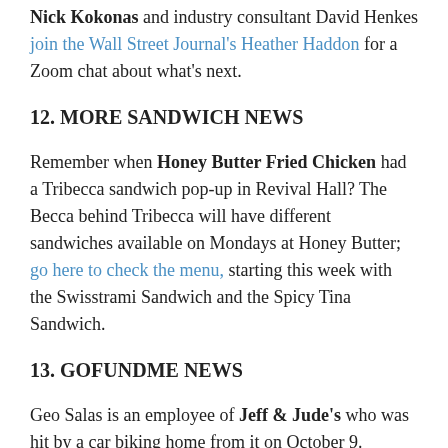Nick Kokonas and industry consultant David Henkes join the Wall Street Journal's Heather Haddon for a Zoom chat about what's next.
12. MORE SANDWICH NEWS
Remember when Honey Butter Fried Chicken had a Tribecca sandwich pop-up in Revival Hall? The Becca behind Tribecca will have different sandwiches available on Mondays at Honey Butter; go here to check the menu, starting this week with the Swisstrami Sandwich and the Spicy Tina Sandwich.
13. GOFUNDME NEWS
Geo Salas is an employee of Jeff & Jude's who was hit by a car biking home from it on October 9. There's a fundraiser for her dental surgery here, or you can also support her on Tuesday as Pizza